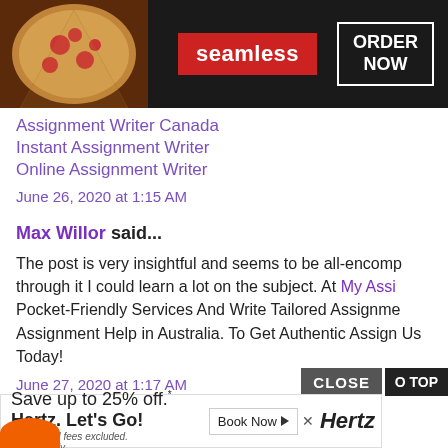[Figure (screenshot): Seamless food delivery advertisement banner with pizza image, red Seamless logo, and ORDER NOW button on dark background]
Assignment Writer Canada
Instant Assignment Writer
Online Assignment Writer
June 26, 2020 at 1:15 AM
Max Willor said...
The post is very insightful and seems to be all-encompassing; through it I could learn a lot on the subject. At My Assi Pocket-Friendly Services And Write Tailored Assignments. Assignment Help in Australia. To Get Authentic Assign Us Today!
June 27, 2020 at 1:17 AM
[Figure (screenshot): CLOSE button and TO TOP button overlay, with Hertz advertisement showing Save up to 25% off. Hertz. Let's Go! with Book Now button and Hertz logo]